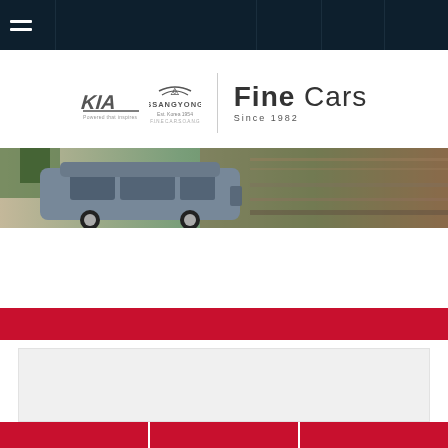[Figure (screenshot): Dark navy navigation bar with hamburger menu icon (three white lines) on the left, and vertical dividers creating column sections across the bar]
[Figure (logo): Fine Cars dealership logo featuring KIA logo on the left, SsangYong logo with bird icon in the center, a vertical divider line, and 'Fine Cars Since 1982' text on the right]
[Figure (photo): Banner photo of a grey SUV (Kia Sportage style) driving with motion blur background of trees]
[Figure (infographic): Red horizontal bar followed by white strip, a light grey content box, and a bottom red bar divided into three columns by white vertical lines]